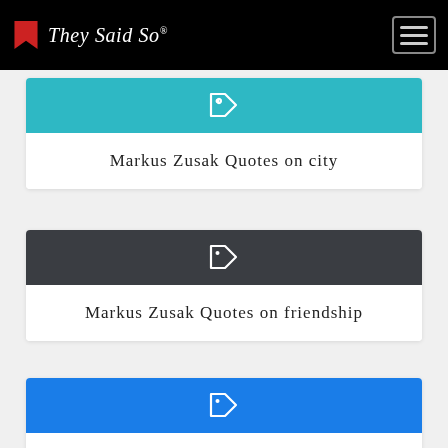They Said So®
Markus Zusak Quotes on city
Markus Zusak Quotes on friendship
Markus Zusak Quotes on war